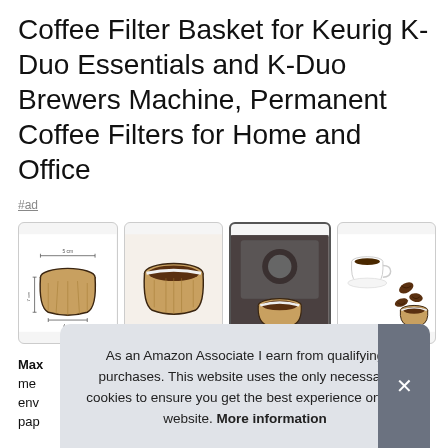Coffee Filter Basket for Keurig K-Duo Essentials and K-Duo Brewers Machine, Permanent Coffee Filters for Home and Office
#ad
[Figure (photo): Four product thumbnail images of a permanent coffee filter basket: 1) schematic/diagram view with dimensions, 2) filter filled with coffee grounds, 3) filter in use near espresso machine, 4) filter with coffee cup and coffee beans]
Max
me
env
pap
As an Amazon Associate I earn from qualifying purchases. This website uses the only necessary cookies to ensure you get the best experience on our website. More information